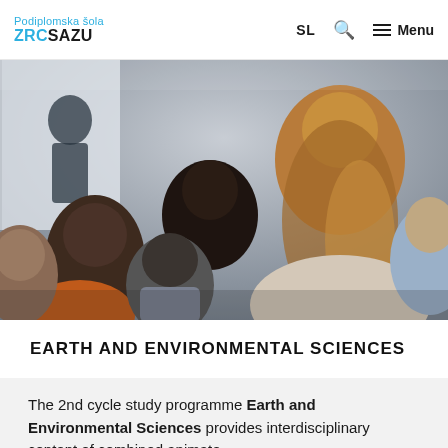Podiplomska šola ZRC SAZU — SL | Search | Menu
[Figure (photo): Audience in a lecture hall viewed from behind, with a presenter at the front near a whiteboard. People with various hair colors and styles are seated.]
EARTH AND ENVIRONMENTAL SCIENCES
The 2nd cycle study programme Earth and Environmental Sciences provides interdisciplinary content of combined animate